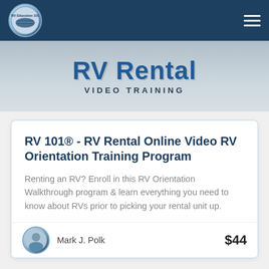[Figure (logo): RV Education 101 circular logo in top-left nav bar]
RV Rental VIDEO TRAINING
RV 101® - RV Rental Online Video RV Orientation Training Program
Renting an RV? Enroll in this RV Orientation Walkthrough program & learn everything you need to know about RVs prior to picking your rental unit up.
Mark J. Polk
$44